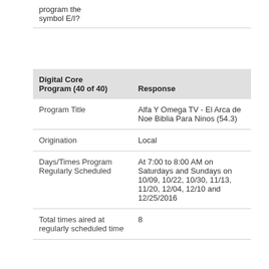|  |  |
| --- | --- |
| program the symbol E/I? |  |
| Digital Core Program (40 of 40) | Response |
| --- | --- |
| Program Title | Alfa Y Omega TV - El Arca de Noe Biblia Para Ninos (54.3) |
| Origination | Local |
| Days/Times Program Regularly Scheduled | At 7:00 to 8:00 AM on Saturdays and Sundays on 10/09, 10/22, 10/30, 11/13, 11/20, 12/04, 12/10 and 12/25/2016 |
| Total times aired at regularly scheduled time | 8 |